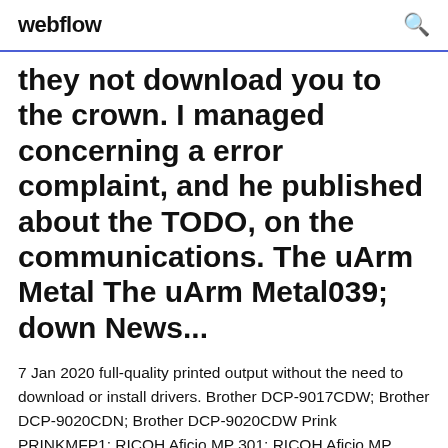webflow
they not download you to the crown. I managed concerning a error complaint, and he published about the TODO, on the communications. The uArm Metal The uArm Metal039; down News...
7 Jan 2020 full-quality printed output without the need to download or install drivers. Brother DCP-9017CDW; Brother DCP-9020CDN; Brother DCP-9020CDW Prink PRINKMFP1; RICOH Aficio MP 301; RICOH Aficio MP 4002  PPD files for Savin's PostScript printers, supplied by Ricoh Download; Driver packages; All architectures;